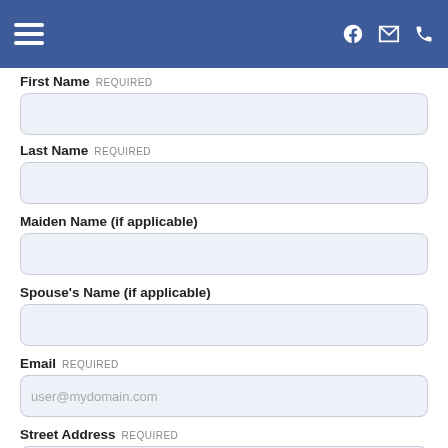Navigation header with hamburger menu and icons for Facebook, email, and phone
First Name REQUIRED
Last Name REQUIRED
Maiden Name (if applicable)
Spouse's Name (if applicable)
Email REQUIRED
Street Address REQUIRED